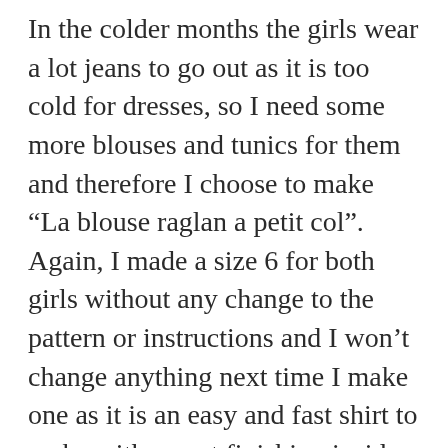In the colder months the girls wear a lot jeans to go out as it is too cold for dresses, so I need some more blouses and tunics for them and therefore I choose to make “La blouse raglan a petit col”. Again, I made a size 6 for both girls without any change to the pattern or instructions and I won’t change anything next time I make one as it is an easy and fast shirt to make with a neat finishing inside, it is comfortable to wear and the collar is really